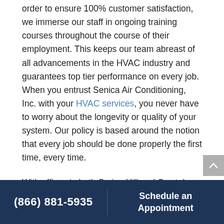order to ensure 100% customer satisfaction, we immerse our staff in ongoing training courses throughout the course of their employment. This keeps our team abreast of all advancements in the HVAC industry and guarantees top tier performance on every job. When you entrust Senica Air Conditioning, Inc. with your HVAC services, you never have to worry about the longevity or quality of your system. Our policy is based around the notion that every job should be done properly the first time, every time.
With offices in both Spring Hill and Crystal River, Florida, Senica Air Conditioning, Inc. proudly provides HVAC residential and commercial
(866) 881-5935   Schedule an Appointment